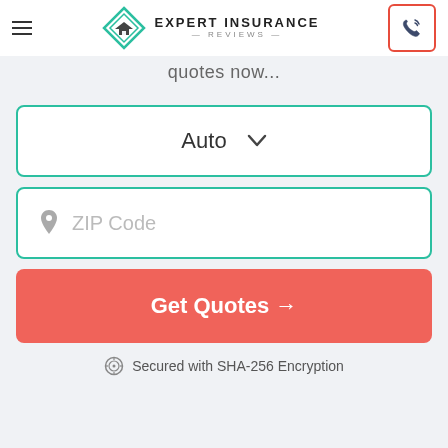Expert Insurance Reviews
quotes now
Auto (dropdown selector)
ZIP Code (input field)
Get Quotes →
Secured with SHA-256 Encryption